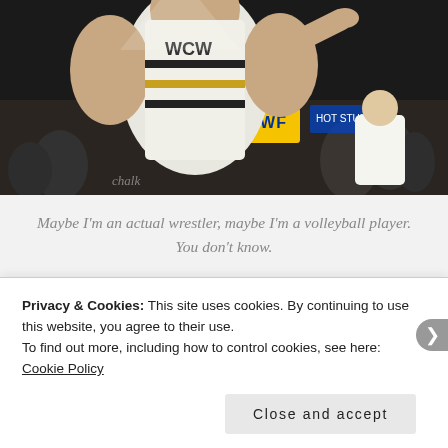[Figure (photo): A large muscular wrestler in a white and black tank top at a WWF event, with crowd visible in the background and a WWF logo sign visible.]
Maybe I'm an actual wrestler, maybe I'm a volleyball player.  You don't know.
The “Blue Knight” is actually Greg Valentine, but no one knows that.  So let’s pretend I’m a viewer at this event in 1993...
Privacy & Cookies: This site uses cookies. By continuing to use this website, you agree to their use.
To find out more, including how to control cookies, see here: Cookie Policy
Close and accept